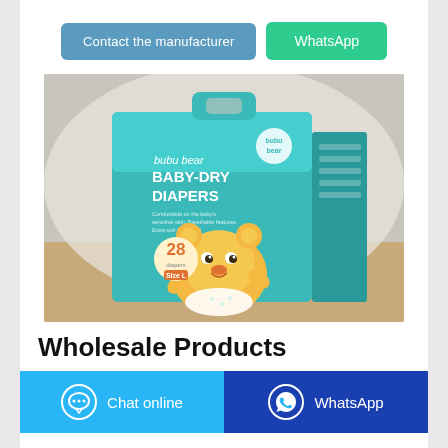[Figure (other): Two call-to-action buttons: 'Contact the manufacturer' (blue-grey) and 'WhatsApp' (green)]
[Figure (photo): Product photo of Bubu Bear Baby-Dry Diapers package (teal/turquoise box with cartoon bear character, 28 count, size L) on a wooden surface with white fabric background]
Wholesale Products
[Figure (other): Two bottom action buttons: 'Chat online' (light blue with chat bubble icon) and 'WhatsApp' (dark blue with WhatsApp logo)]